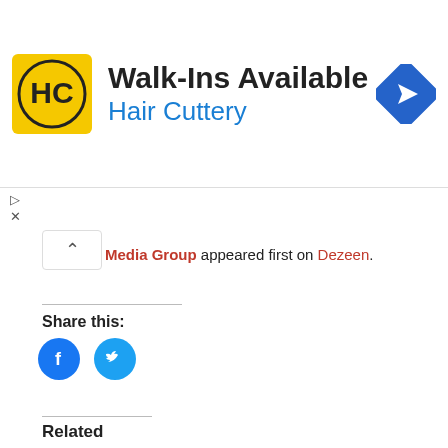[Figure (infographic): Hair Cuttery advertisement banner with logo, 'Walk-Ins Available' headline, and navigation icon]
Media Group appeared first on Dezeen.
Share this:
[Figure (infographic): Facebook and Twitter share buttons as blue circles with white icons]
Related
bjarke ingels designs an office in the metaverse for vice media group
the new space on decentraland will serve as a virtual innovation lab where employees can experiment with NFTs,
[Figure (photo): Aerial rendering of Zaha Hadid Architects virtual Liberland Metaverse city]
Zaha Hadid Architects designs virtual Liberland Metaverse city